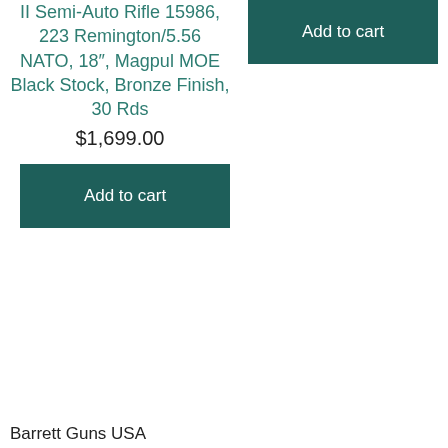II Semi-Auto Rifle 15986, 223 Remington/5.56 NATO, 18″, Magpul MOE Black Stock, Bronze Finish, 30 Rds
$1,699.00
Add to cart
Add to cart
Barrett Guns USA